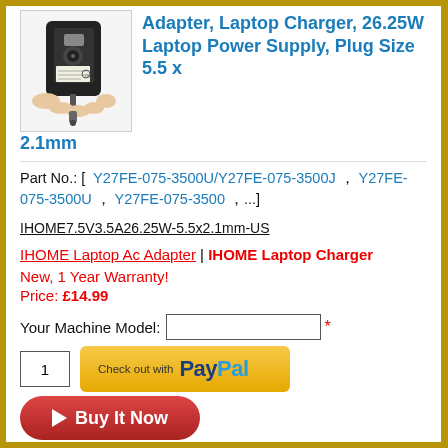[Figure (photo): Laptop AC adapter/charger held in hand, black power supply unit with cable]
Adapter, Laptop Charger, 26.25W Laptop Power Supply, Plug Size 5.5 x 2.1mm
Part No.: [ Y27FE-075-3500U/Y27FE-075-3500J , Y27FE-075-3500U , Y27FE-075-3500 , ...]
IHOME7.5V3.5A26.25W-5.5x2.1mm-US
IHOME Laptop Ac Adapter | IHOME Laptop Charger
New, 1 Year Warranty!
Price: £14.99
Your Machine Model:
1
Check out with PayPal
Buy It Now